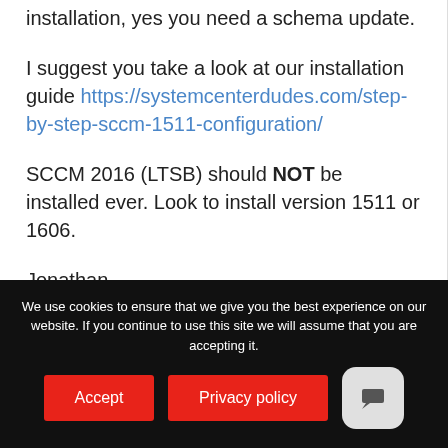installation, yes you need a schema update.
I suggest you take a look at our installation guide https://systemcenterdudes.com/step-by-step-sccm-1511-configuration/
SCCM 2016 (LTSB) should NOT be installed ever. Look to install version 1511 or 1606.
Jonathan
We use cookies to ensure that we give you the best experience on our website. If you continue to use this site we will assume that you are accepting it.